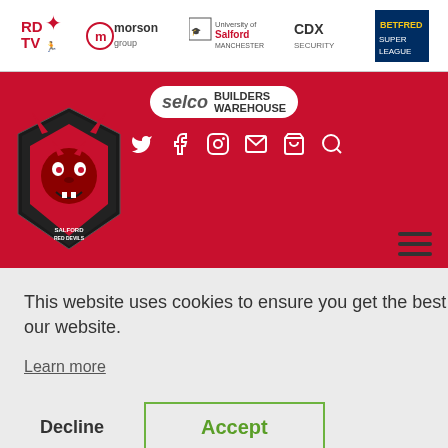[Figure (logo): Sponsor bar with logos: RDTV, Morson Group, University of Salford Manchester, CDX Security, Betfred Super League]
[Figure (logo): Red navigation bar with Selco Builders Warehouse logo, social media icons (Twitter, Facebook, Instagram, email, cart, search), Salford Red Devils devil mascot logo, and hamburger menu]
d to go
was
d off,
This website uses cookies to ensure you get the best experience on our website.
Learn more
come
here
Decline
Accept